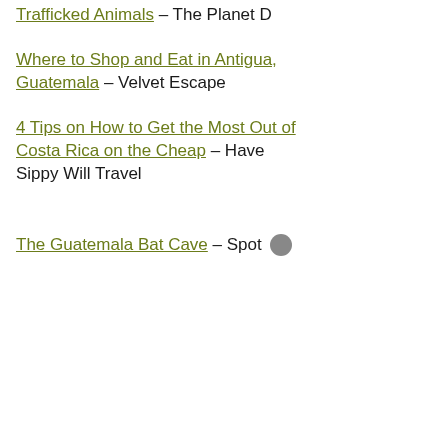Trafficked Animals – The Planet D
Where to Shop and Eat in Antigua, Guatemala – Velvet Escape
4 Tips on How to Get the Most Out of Costa Rica on the Cheap – Have Sippy Will Travel
The Guatemala Bat Cave – Spot …